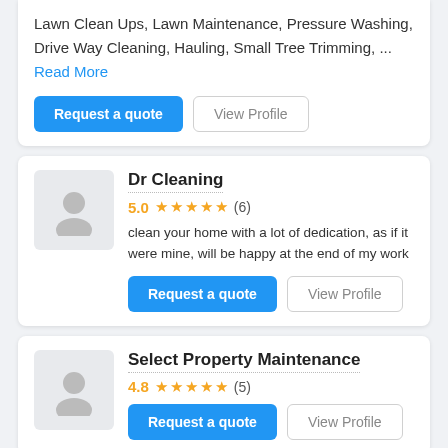Lawn Clean Ups, Lawn Maintenance, Pressure Washing, Drive Way Cleaning, Hauling, Small Tree Trimming, ... Read More
Request a quote
View Profile
Dr Cleaning
5.0 ★★★★★ (6)
clean your home with a lot of dedication, as if it were mine, will be happy at the end of my work
Request a quote
View Profile
Select Property Maintenance
4.8 ★★★★★ (5)
Request a quote
View Profile